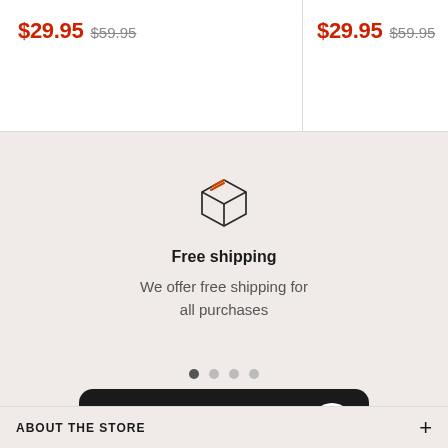$29.95 $59.95 (left card)
$29.95 $59.95 (right card)
[Figure (illustration): Package/box icon with orange tape lines, outline style]
Free shipping
We offer free shipping for all purchases
[Figure (other): Carousel pagination dots, four dots with first active]
Questions? We can help. Chat with us now.
ABOUT THE STORE +